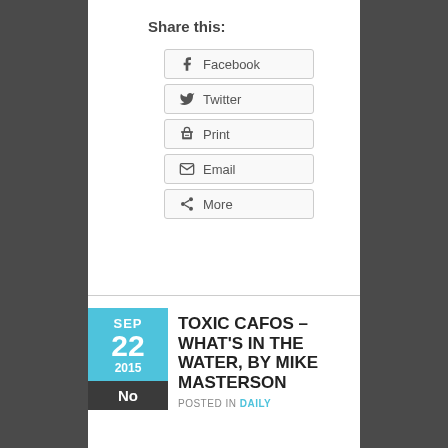Share this:
Facebook
Twitter
Print
Email
More
TOXIC CAFOS – WHAT'S IN THE WATER, BY MIKE MASTERSON
POSTED IN DAILY